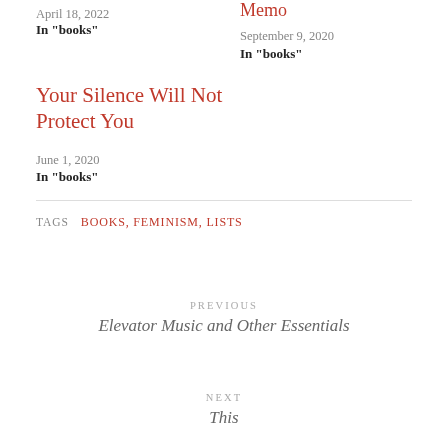April 18, 2022
In "books"
Memo
September 9, 2020
In "books"
Your Silence Will Not Protect You
June 1, 2020
In "books"
TAGS  BOOKS, FEMINISM, LISTS
PREVIOUS
Elevator Music and Other Essentials
NEXT
This